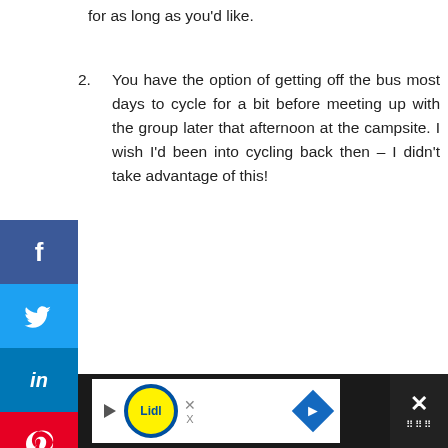for as long as you'd like.
2. You have the option of getting off the bus most days to cycle for a bit before meeting up with the group later that afternoon at the campsite. I wish I'd been into cycling back then – I didn't take advantage of this!
[Figure (photo): Landscape photograph showing a turquoise alpine lake with snow-capped mountains in the background and a dense forest of pine trees in the foreground.]